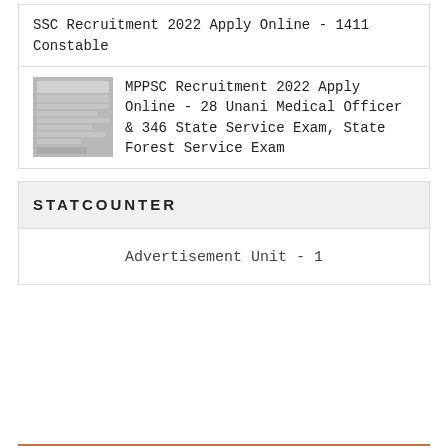SSC Recruitment 2022 Apply Online - 1411 Constable
[Figure (screenshot): Thumbnail image showing a Hindi-language government recruitment document/notification]
MPPSC Recruitment 2022 Apply Online - 28 Unani Medical Officer & 346 State Service Exam, State Forest Service Exam
STATCOUNTER
Advertisement Unit - 1